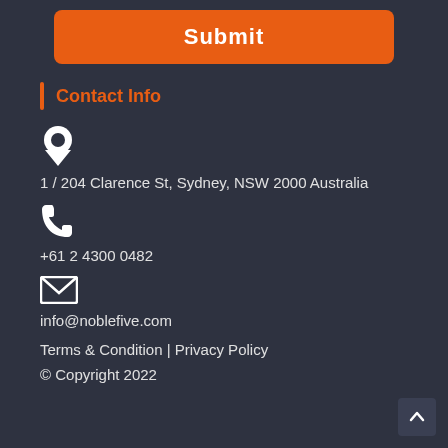Submit
Contact Info
1 / 204 Clarence St, Sydney, NSW 2000 Australia
+61 2 4300 0482
info@noblefive.com
Terms & Condition | Privacy Policy
© Copyright 2022